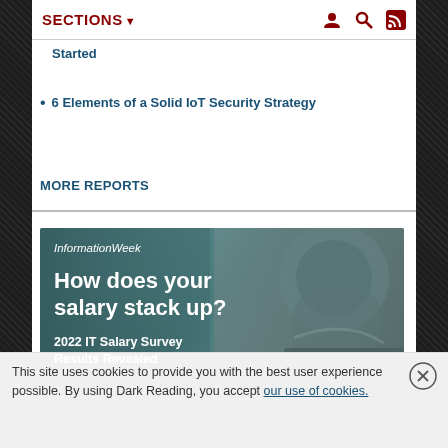SECTIONS ▼
Started
6 Elements of a Solid IoT Security Strategy
MORE REPORTS
[Figure (illustration): InformationWeek advertisement banner with teal/gray background showing architectural stone detail. Text reads: InformationWeek — How does your salary stack up? 2022 IT Salary Survey Results Revealed]
This site uses cookies to provide you with the best user experience possible. By using Dark Reading, you accept our use of cookies.